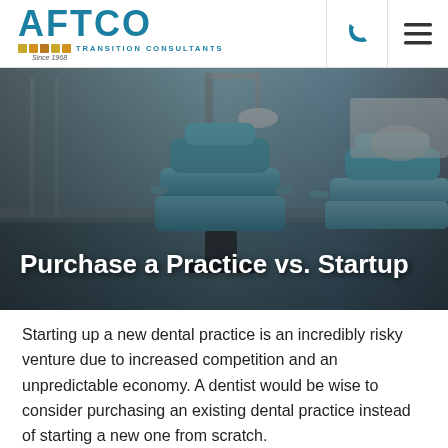AFTCO TRANSITION CONSULTANTS Since 1968
[Figure (photo): Dental office interior with blue dental chairs and equipment, dark atmospheric lighting. Overlay title text: 'Purchase a Practice vs. Startup']
Purchase a Practice vs. Startup
Starting up a new dental practice is an incredibly risky venture due to increased competition and an unpredictable economy. A dentist would be wise to consider purchasing an existing dental practice instead of starting a new one from scratch.